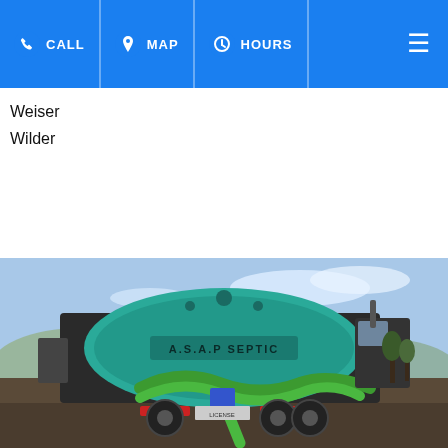CALL  MAP  HOURS
Weiser
Wilder
[Figure (photo): Rear view of an ASAP Septic truck with a large teal tank and green hoses, parked on a dirt lot with blue sky and hills in the background.]